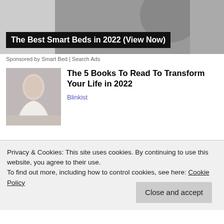[Figure (photo): Advertisement banner showing a smart bed with dark overlay title box]
The Best Smart Beds in 2022 (View Now)
Sponsored by Smart Bed | Search Ads
[Figure (photo): Portrait photo of a blonde woman in white clothing against gray background]
The 5 Books To Read To Transform Your Life in 2022
Blinkist
[Figure (photo): Photo of a blonde woman in front of a chalkboard with text visible]
We Will Guess Your Education Level in 30
Privacy & Cookies: This site uses cookies. By continuing to use this website, you agree to their use.
To find out more, including how to control cookies, see here: Cookie Policy
Close and accept